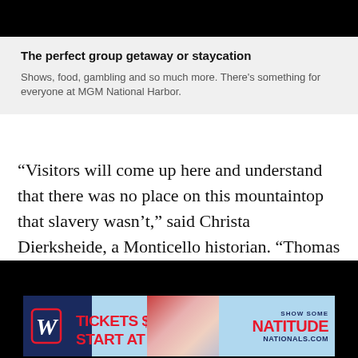[Figure (other): Black bar at top of page (partially visible image/video area)]
The perfect group getaway or staycation
Shows, food, gambling and so much more. There’s something for everyone at MGM National Harbor.
“Visitors will come up here and understand that there was no place on this mountaintop that slavery wasn’t,” said Christa Dierksheide, a Monticello historian. “Thomas Jefferson was surrounded by people, and the vast majority of those people were enslaved.”
[Figure (other): Black bar and Nationals advertisement banner: TICKETS START AT $9, SHOW SOME NATITUDE, NATIONALS.COM]
[Figure (other): Washington Nationals advertisement. Tickets start at $9. Show some Natitude. Nationals.com.]